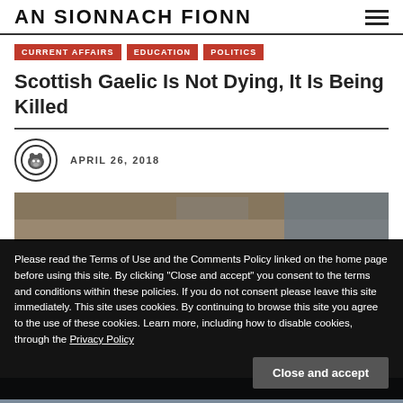AN SIONNACH FIONN
CURRENT AFFAIRS
EDUCATION
POLITICS
Scottish Gaelic Is Not Dying, It Is Being Killed
APRIL 26, 2018
Please read the Terms of Use and the Comments Policy linked on the home page before using this site. By clicking “Close and accept” you consent to the terms and conditions within these policies. If you do not consent please leave this site immediately. This site uses cookies. By continuing to browse this site you agree to the use of these cookies. Learn more, including how to disable cookies, through the Privacy Policy
Close and accept